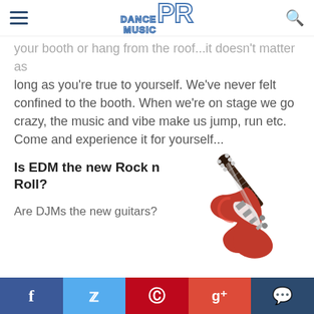Dance Music PR
your booth or hang from the roof...it doesn't matter as long as you're true to yourself. We've never felt confined to the booth. When we're on stage we go crazy, the music and vibe make us jump, run etc. Come and experience it for yourself...
Is EDM the new Rock n Roll?
[Figure (photo): Red electric guitar (Fender Stratocaster style) angled diagonally]
Are DJMs the new guitars?
Do you guys ‘french fuck’ on the first date?
It’s mandatory, isn’t it?
Social share bar: Facebook, Twitter, Pinterest, Google+, Comments